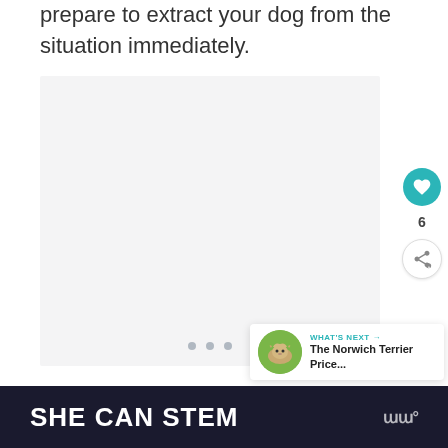prepare to extract your dog from the situation immediately.
[Figure (photo): Placeholder image area with three navigation dots at bottom, shown in light gray background.]
[Figure (infographic): What's Next panel with dog thumbnail, label 'WHAT'S NEXT →', and title 'The Norwich Terrier Price...']
6
SHE CAN STEM